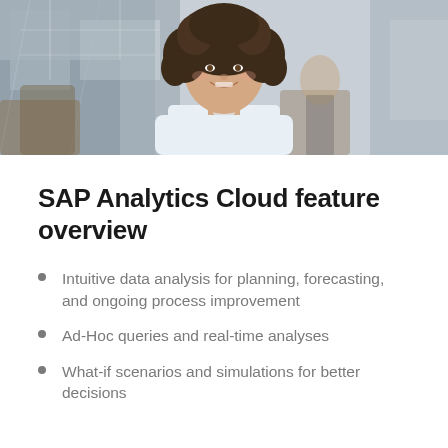[Figure (photo): Professional woman with curly hair smiling in an office environment]
SAP Analytics Cloud feature overview
Intuitive data analysis for planning, forecasting, and ongoing process improvement
Ad-Hoc queries and real-time analyses
What-if scenarios and simulations for better decisions